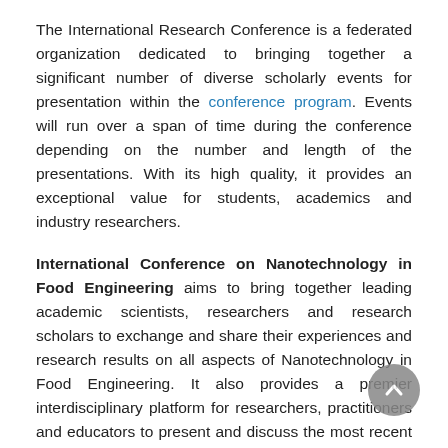The International Research Conference is a federated organization dedicated to bringing together a significant number of diverse scholarly events for presentation within the conference program. Events will run over a span of time during the conference depending on the number and length of the presentations. With its high quality, it provides an exceptional value for students, academics and industry researchers.
International Conference on Nanotechnology in Food Engineering aims to bring together leading academic scientists, researchers and research scholars to exchange and share their experiences and research results on all aspects of Nanotechnology in Food Engineering. It also provides a premier interdisciplinary platform for researchers, practitioners and educators to present and discuss the most recent innovations,